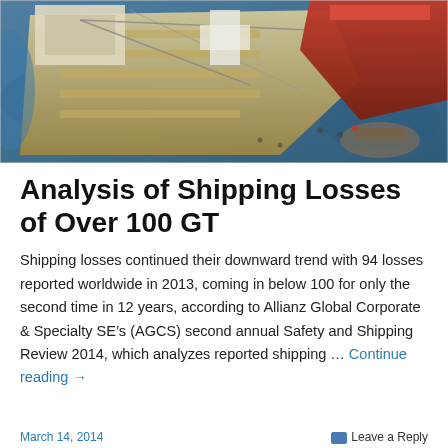[Figure (photo): Aerial view of ships at sea, showing damaged or salvage vessels with a red-hulled ship and dock/deck structures visible from above]
Analysis of Shipping Losses of Over 100 GT
Shipping losses continued their downward trend with 94 losses reported worldwide in 2013, coming in below 100 for only the second time in 12 years, according to Allianz Global Corporate & Specialty SE’s (AGCS) second annual Safety and Shipping Review 2014, which analyzes reported shipping … Continue reading →
March 14, 2014   Leave a Reply